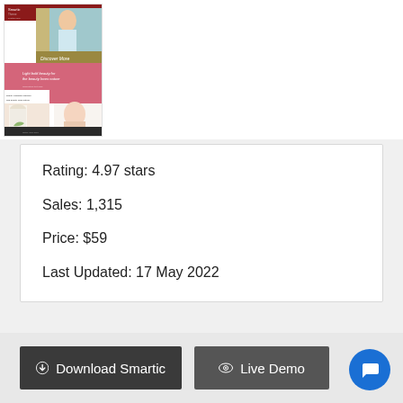[Figure (screenshot): Screenshot of the Smartic website theme showing a beauty/fashion website design with red, pink, and gold color scheme]
Rating: 4.97 stars
Sales: 1,315
Price: $59
Last Updated: 17 May 2022
Download Smartic
Live Demo